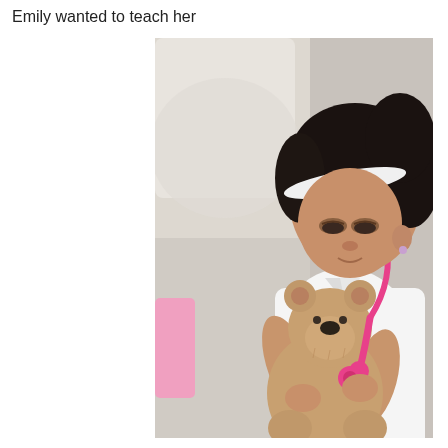Emily wanted to teach her
[Figure (photo): A young girl with dark hair and a white headband, wearing a white shirt, holds a pink toy stethoscope to a stuffed teddy bear, playing doctor.]